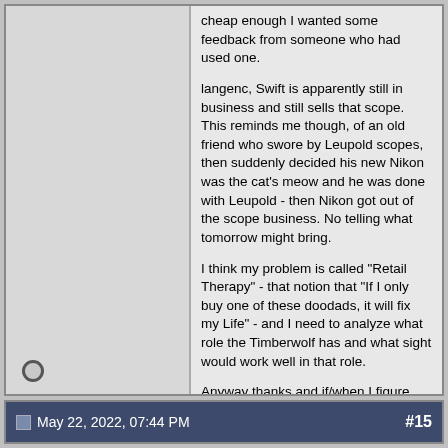cheap enough I wanted some feedback from someone who had used one.

langenc, Swift is apparently still in business and still sells that scope. This reminds me though, of an old friend who swore by Leupold scopes, then suddenly decided his new Nikon was the cat's meow and he was done with Leupold - then Nikon got out of the scope business. No telling what tomorrow might bring.

I think my problem is called "Retail Therapy" - that notion that "If I only buy one of these doodads, it will fix my Life" - and I need to analyze what role the Timberwolf has and what sight would work well in that role.

Anyway thanks and if/when I figure out how to proceed, I'll close the loop.
May 22, 2022, 07:44 PM  #15